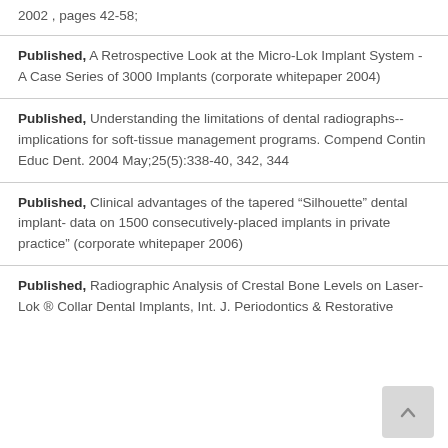2002 , pages 42-58;
Published, A Retrospective Look at the Micro-Lok Implant System - A Case Series of 3000 Implants (corporate whitepaper 2004)
Published, Understanding the limitations of dental radiographs--implications for soft-tissue management programs. Compend Contin Educ Dent. 2004 May;25(5):338-40, 342, 344
Published, Clinical advantages of the tapered “Silhouette” dental implant- data on 1500 consecutively-placed implants in private practice” (corporate whitepaper 2006)
Published, Radiographic Analysis of Crestal Bone Levels on Laser-Lok ® Collar Dental Implants, Int. J. Periodontics & Restorative